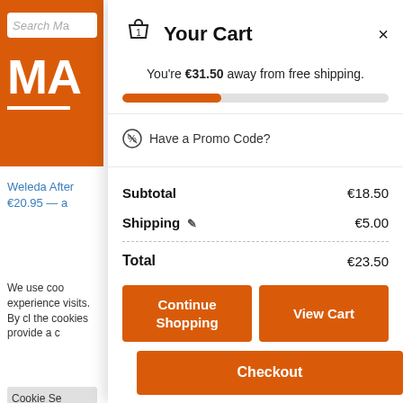[Figure (screenshot): Orange website background with search bar, MA logo text in white, Weleda product link and price, cookie notice text and button]
Your Cart
You're €31.50 away from free shipping.
[Figure (infographic): Orange progress bar approximately 37% full on grey background track]
Have a Promo Code?
| Label | Amount |
| --- | --- |
| Subtotal | €18.50 |
| Shipping ✏ | €5.00 |
| Total | €23.50 |
Continue Shopping
View Cart
Checkout